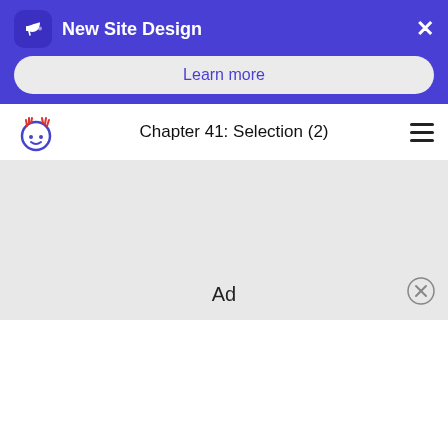New Site Design
Learn more
Chapter 41: Selection (2)
[Figure (screenshot): Ad placeholder area with 'Ad' label and close button]